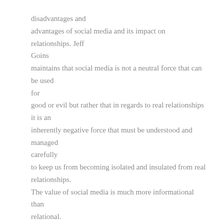disadvantages and advantages of social media and its impact on relationships. Jeff Goins maintains that social media is not a neutral force that can be used for good or evil but rather that in regards to real relationships it is an inherently negative force that must be understood and managed carefully to keep us from becoming isolated and insulated from real relationships. The value of social media is much more informational than relational. This has been true of all forms of communication from the beginning of time.
When God wanted to communicate ten rules to live by he used the first Ipad, a stone tablet." It worked just fine.